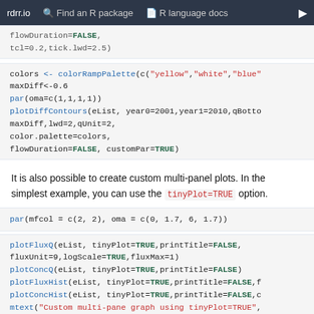rdrr.io   Find an R package   R language docs
flowDuration=FALSE,
        tcl=0.2,tick.lwd=2.5)
colors <- colorRampPalette(c("yellow","white","blue"
maxDiff<-0.6
par(oma=c(1,1,1,1))
plotDiffContours(eList, year0=2001,year1=2010,qBotto
                maxDiff,lwd=2,qUnit=2,
                color.palette=colors,
                flowDuration=FALSE, customPar=TRUE)
It is also possible to create custom multi-panel plots. In the simplest example, you can use the tinyPlot=TRUE option.
par(mfcol = c(2, 2), oma = c(0, 1.7, 6, 1.7))
plotFluxQ(eList, tinyPlot=TRUE,printTitle=FALSE,
        fluxUnit=9,logScale=TRUE,fluxMax=1)
plotConcQ(eList, tinyPlot=TRUE,printTitle=FALSE)
plotFluxHist(eList, tinyPlot=TRUE,printTitle=FALSE,f
plotConcHist(eList, tinyPlot=TRUE,printTitle=FALSE,c
mtext("Custom multi-pane graph using tinyPlot=TRUE",
Finally, the following figure shows a method to create a panel of plots with a finer control.